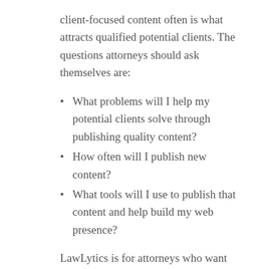client-focused content often is what attracts qualified potential clients. The questions attorneys should ask themselves are:
What problems will I help my potential clients solve through publishing quality content?
How often will I publish new content?
What tools will I use to publish that content and help build my web presence?
LawLytics is for attorneys who want to cut